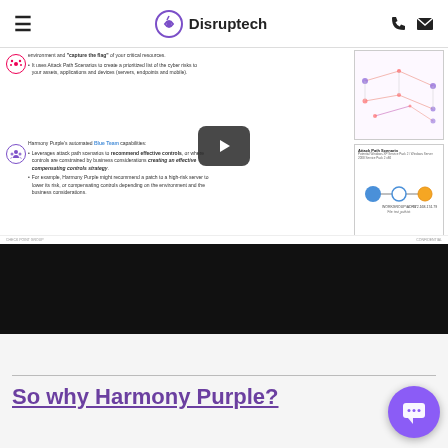Disruptech
[Figure (screenshot): Screenshot of a Harmony Purple product page showing Blue Team capabilities with bullet points about attack path scenarios, compensating controls strategy, and two diagrams on the right side showing network attack paths and attack path scenario visualization. A video play button overlay is visible in the center.]
[Figure (screenshot): Black video player thumbnail area below the document screenshot]
So why Harmony Purple?